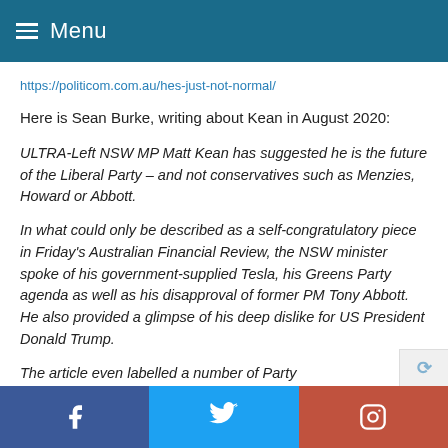Menu
https://politicom.com.au/hes-just-not-normal/
Here is Sean Burke, writing about Kean in August 2020:
ULTRA-Left NSW MP Matt Kean has suggested he is the future of the Liberal Party – and not conservatives such as Menzies, Howard or Abbott.
In what could only be described as a self-congratulatory piece in Friday's Australian Financial Review, the NSW minister spoke of his government-supplied Tesla, his Greens Party agenda as well as his disapproval of former PM Tony Abbott. He also provided a glimpse of his deep dislike for US President Donald Trump.
The article even labelled a number of Party
f  Twitter  Instagram